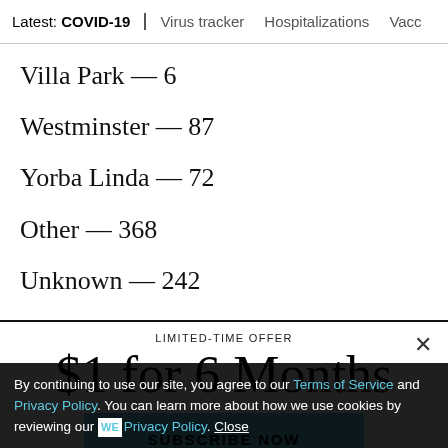Latest: COVID-19 | Virus tracker | Hospitalizations | Vacc
Villa Park — 6
Westminster — 87
Yorba Linda — 72
Other — 368
Unknown — 242
LIMITED-TIME OFFER
$1 for 6 Months
SUBSCRIBE NOW
By continuing to use our site, you agree to our Terms of Service and Privacy Policy. You can learn more about how we use cookies by reviewing our Privacy Policy. Close